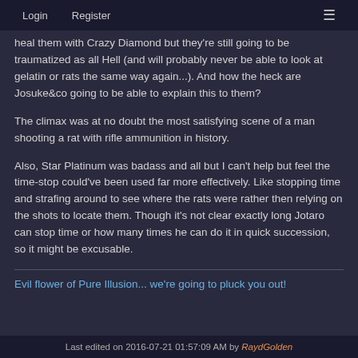Login   Register
heal them with Crazy Diamond but they're still going to be traumatized as all Hell (and will probably never be able to look at gelatin or rats the same way again...). And how the heck are Josuke&co going to be able to explain this to them?
The climax was at no doubt the most satisfying scene of a man shooting a rat with rifle ammunition in history.
Also, Star Platinum was badass and all but I can't help but feel the time-stop could've been used far more effectively. Like stopping time and strafing around to see where the rats were rather then relying on the shots to locate them. Though it's not clear exactly long Jotaro can stop time or how many times he can do it in quick succession, so it might be excusable.
Evil flower of Pure Illusion... we're going to pluck you out!
Last edited on 2016-07-21 01:57:09 AM by RaydGolden